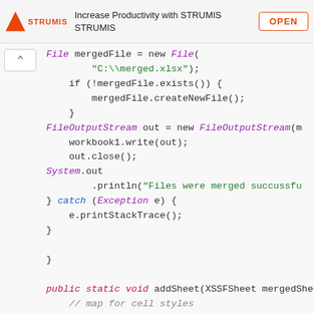[Figure (screenshot): STRUMIS advertisement banner with logo, text 'Increase Productivity with STRUMIS STRUMIS', and OPEN button]
File mergedFile = new File(
    "C:\\merged.xlsx");
if (!mergedFile.exists()) {
    mergedFile.createNewFile();
}
FileOutputStream out = new FileOutputStream(m
workbook1.write(out);
out.close();
System.out
    .println("Files were merged succussfu
} catch (Exception e) {
    e.printStackTrace();
}

}

public static void addSheet(XSSFSheet mergedSheet, XS
    // map for cell styles
    Map<Integer, XSSFCellStyle> styleMap = new HashMa

    // This parameter is for appending sheet rows to
    int len = mergedSheet.getLastRowNum();
    for (int j = sheet.getFirstRowNum(); j <= sheet.g